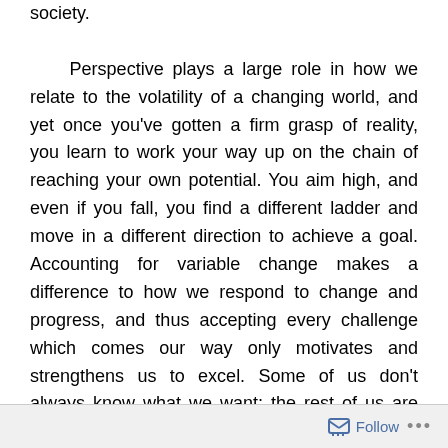society.

Perspective plays a large role in how we relate to the volatility of a changing world, and yet once you've gotten a firm grasp of reality, you learn to work your way up on the chain of reaching your own potential. You aim high, and even if you fall, you find a different ladder and move in a different direction to achieve a goal. Accounting for variable change makes a difference to how we respond to change and progress, and thus accepting every challenge which comes our way only motivates and strengthens us to excel. Some of us don't always know what we want; the rest of us are simply never satisfied, simply because our world is buoyantly intensifying.

Having a firm grasp on reality doesn't necessarily
Follow